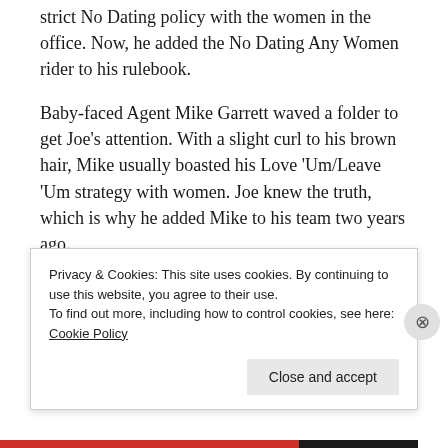strict No Dating policy with the women in the office. Now, he added the No Dating Any Women rider to his rulebook.
Baby-faced Agent Mike Garrett waved a folder to get Joe’s attention. With a slight curl to his brown hair, Mike usually boasted his Love ‘Um/Leave ‘Um strategy with women. Joe knew the truth, which is why he added Mike to his team two years ago.
Mike’s fiancée had died in an automobile
Privacy & Cookies: This site uses cookies. By continuing to use this website, you agree to their use.
To find out more, including how to control cookies, see here:
Cookie Policy